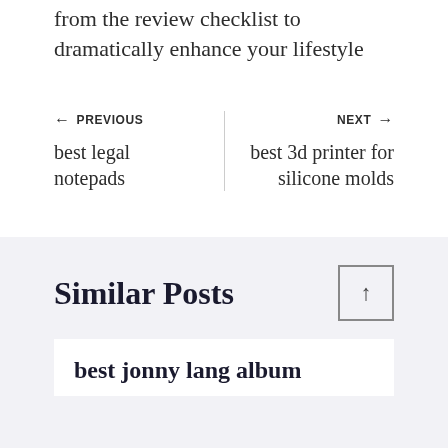from the review checklist to dramatically enhance your lifestyle
← PREVIOUS
best legal notepads
NEXT →
best 3d printer for silicone molds
Similar Posts
best jonny lang album